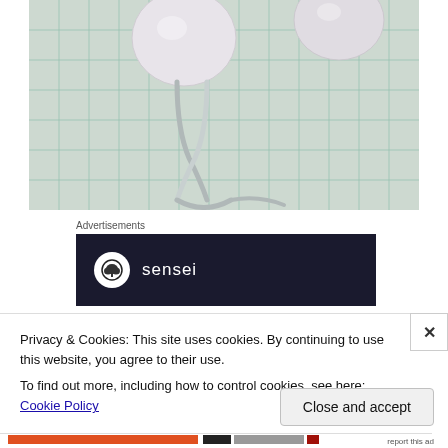[Figure (photo): Close-up photo of pearl earrings with silver wire hooks on a grid/graph paper background. White pearl beads visible at top, silver U-shaped wire hooks below.]
Advertisements
[Figure (logo): Sensei advertisement banner: dark navy background with white circle containing a bonsai tree icon, and the word 'sensei' in white text]
Privacy & Cookies: This site uses cookies. By continuing to use this website, you agree to their use.
To find out more, including how to control cookies, see here: Cookie Policy
Close and accept